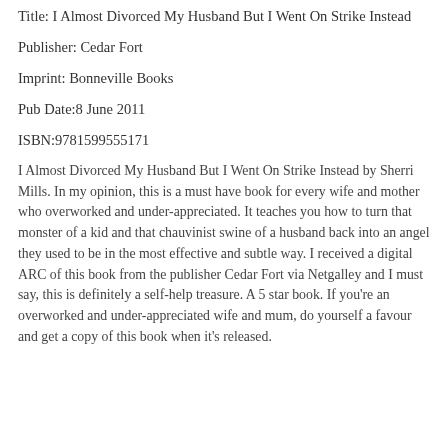Title: I Almost Divorced My Husband But I Went On Strike Instead
Publisher: Cedar Fort
Imprint: Bonneville Books
Pub Date:8 June 2011
ISBN:9781599555171
I Almost Divorced My Husband But I Went On Strike Instead by Sherri Mills. In my opinion, this is a must have book for every wife and mother who overworked and under-appreciated. It teaches you how to turn that monster of a kid and that chauvinist swine of a husband back into an angel they used to be in the most effective and subtle way. I received a digital ARC of this book from the publisher Cedar Fort via Netgalley and I must say, this is definitely a self-help treasure. A 5 star book. If you're an overworked and under-appreciated wife and mum, do yourself a favour and get a copy of this book when it's released.